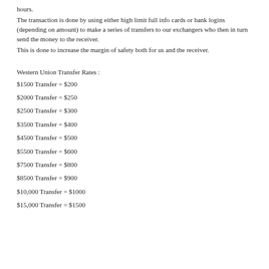hours.
The transaction is done by using either high limit full info cards or bank logins (depending on amount) to make a series of transfers to our exchangers who then in turn send the money to the receiver.
This is done to increase the margin of safety both for us and the receiver.
Western Union Transfer Rates :
$1500 Transfer = $200
$2000 Transfer = $250
$2500 Transfer = $300
$3500 Transfer = $400
$4500 Transfer = $500
$5500 Transfer = $600
$7500 Transfer = $800
$8500 Transfer = $900
$10,000 Transfer = $1000
$15,000 Transfer = $1500